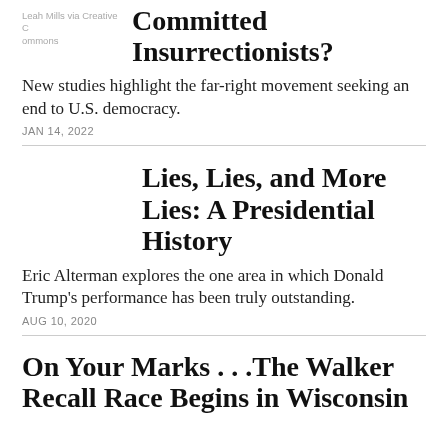Leah Mills via Creative Commons
Who Are Trump's Committed Insurrectionists?
New studies highlight the far-right movement seeking an end to U.S. democracy.
JAN 14, 2022
Lies, Lies, and More Lies: A Presidential History
Eric Alterman explores the one area in which Donald Trump's performance has been truly outstanding.
AUG 10, 2020
On Your Marks . . .The Walker Recall Race Begins in Wisconsin